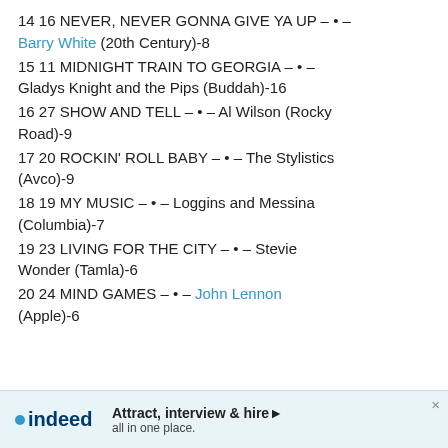14 16 NEVER, NEVER GONNA GIVE YA UP – • – Barry White (20th Century)-8
15 11 MIDNIGHT TRAIN TO GEORGIA – • – Gladys Knight and the Pips (Buddah)-16
16 27 SHOW AND TELL – • – Al Wilson (Rocky Road)-9
17 20 ROCKIN' ROLL BABY – • – The Stylistics (Avco)-9
18 19 MY MUSIC – • – Loggins and Messina (Columbia)-7
19 23 LIVING FOR THE CITY – • – Stevie Wonder (Tamla)-6
20 24 MIND GAMES – • – John Lennon (Apple)-6
[Figure (other): Indeed advertisement banner: 'Attract, interview & hire all in one place.']